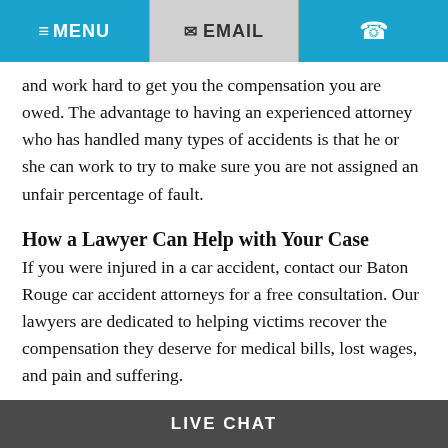≡ MENU   ✉ EMAIL   ☎
and work hard to get you the compensation you are owed. The advantage to having an experienced attorney who has handled many types of accidents is that he or she can work to try to make sure you are not assigned an unfair percentage of fault.
How a Lawyer Can Help with Your Case
If you were injured in a car accident, contact our Baton Rouge car accident attorneys for a free consultation. Our lawyers are dedicated to helping victims recover the compensation they deserve for medical bills, lost wages, and pain and suffering.
LIVE CHAT